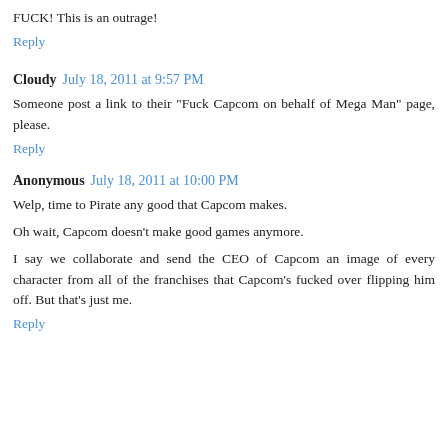FUCK! This is an outrage!
Reply
Cloudy July 18, 2011 at 9:57 PM
Someone post a link to their "Fuck Capcom on behalf of Mega Man" page, please.
Reply
Anonymous July 18, 2011 at 10:00 PM
Welp, time to Pirate any good that Capcom makes.
Oh wait, Capcom doesn't make good games anymore.
I say we collaborate and send the CEO of Capcom an image of every character from all of the franchises that Capcom's fucked over flipping him off. But that's just me.
Reply